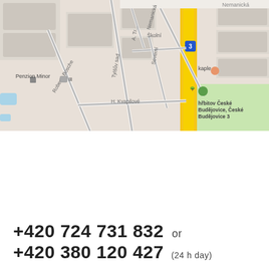[Figure (map): Google Maps view showing streets in České Budějovice area including Nemanická, Školní, Severní, H. Kvapilové streets, with Penzion Minor, kaple, hřbitov České Budějovice locations marked. Yellow highlighted road (route 3) running through center-right.]
+420 724 731 832  or
+420 380 120 427  (24 h day)